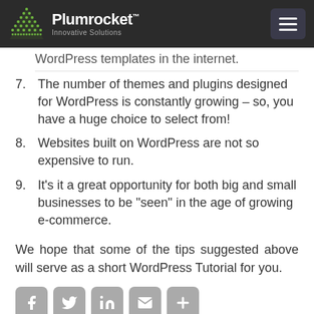Plumrocket – Innovative Solutions
WordPress templates in the internet.
7. The number of themes and plugins designed for WordPress is constantly growing – so, you have a huge choice to select from!
8. Websites built on WordPress are not so expensive to run.
9. It's it a great opportunity for both big and small businesses to be "seen" in the age of growing e-commerce.
We hope that some of the tips suggested above will serve as a short WordPress Tutorial for you.
[Figure (infographic): Social sharing icons row: Facebook, Twitter, LinkedIn, Email, More (+)]